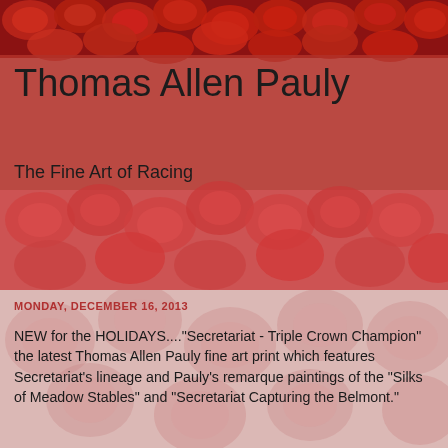[Figure (illustration): Red roses background image filling the header area]
Thomas Allen Pauly
The Fine Art of Racing
MONDAY, DECEMBER 16, 2013
NEW for the HOLIDAYS...."Secretariat - Triple Crown Champion" the latest Thomas Allen Pauly fine art print which features Secretariat's lineage and Pauly's remarque paintings of the "Silks of Meadow Stables" and "Secretariat Capturing the Belmont."
In order to guarantee delivery by Christmas Eve, all domestic orders must be placed by 5:00 PM Eastern Time on December 18th (Overnight Shipments).
To order: please visit -
http://fineartamerica.com/featured/secretariat-triple-crown-